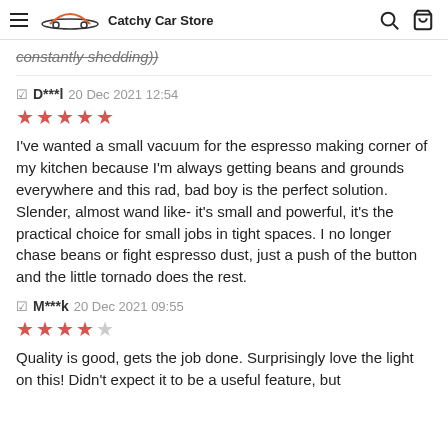Catchy Car Store
constantly shedding))
D***l 20 Dec 2021 12:54 ★★★★★ I've wanted a small vacuum for the espresso making corner of my kitchen because I'm always getting beans and grounds everywhere and this rad, bad boy is the perfect solution. Slender, almost wand like- it's small and powerful, it's the practical choice for small jobs in tight spaces. I no longer chase beans or fight espresso dust, just a push of the button and the little tornado does the rest.
M***k 20 Dec 2021 09:55 ★★★★☆ Quality is good, gets the job done. Surprisingly love the light on this! Didn't expect it to be a useful feature, but